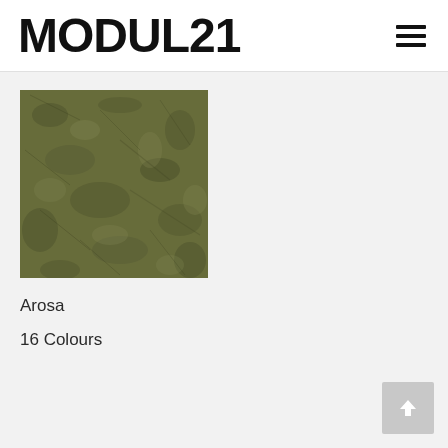MODUL21
[Figure (photo): Close-up texture swatch of olive/army green carpet or felt fabric material called Arosa]
Arosa
16 Colours